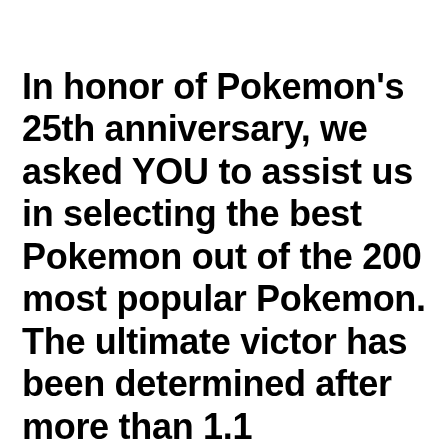In honor of Pokemon's 25th anniversary, we asked YOU to assist us in selecting the best Pokemon out of the 200 most popular Pokemon. The ultimate victor has been determined after more than 1.1